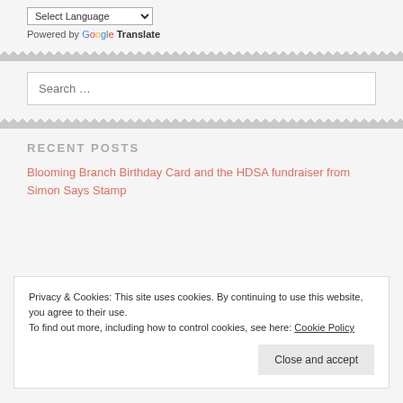Select Language (dropdown)
Powered by Google Translate
Search …
RECENT POSTS
Blooming Branch Birthday Card and the HDSA fundraiser from Simon Says Stamp
Privacy & Cookies: This site uses cookies. By continuing to use this website, you agree to their use.
To find out more, including how to control cookies, see here: Cookie Policy
Close and accept